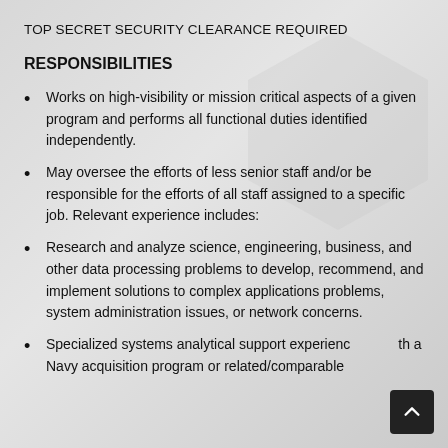TOP SECRET SECURITY CLEARANCE REQUIRED
RESPONSIBILITIES
Works on high-visibility or mission critical aspects of a given program and performs all functional duties identified independently.
May oversee the efforts of less senior staff and/or be responsible for the efforts of all staff assigned to a specific job. Relevant experience includes:
Research and analyze science, engineering, business, and other data processing problems to develop, recommend, and implement solutions to complex applications problems, system administration issues, or network concerns.
Specialized systems analytical support experience with a Navy acquisition program or related/comparable